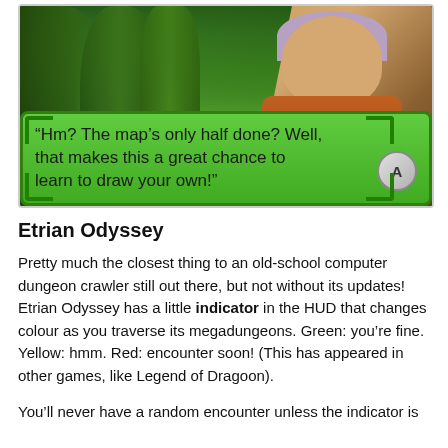[Figure (screenshot): Screenshot from Etrian Odyssey game showing a character with grey hair and orange outfit standing in a forest, with a green dialogue box reading: "Hm? The map's only half done? Well, that makes this a great chance to learn to draw your own!"]
Etrian Odyssey
Pretty much the closest thing to an old-school computer dungeon crawler still out there, but not without its updates! Etrian Odyssey has a little indicator in the HUD that changes colour as you traverse its megadungeons. Green: you're fine. Yellow: hmm. Red: encounter soon! (This has appeared in other games, like Legend of Dragoon).
You'll never have a random encounter unless the indicator is